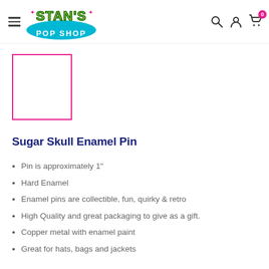Stan's Pop Shop
[Figure (photo): Product image placeholder with magenta/pink border, empty white square]
Sugar Skull Enamel Pin
Pin is approximately 1"
Hard Enamel
Enamel pins are collectible, fun, quirky & retro
High Quality and great packaging to give as a gift.
Copper metal with enamel paint
Great for hats, bags and jackets